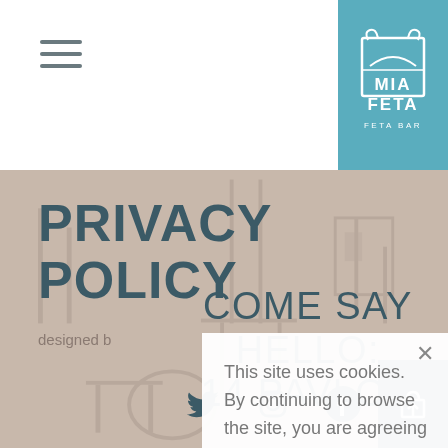☰ (hamburger menu)
[Figure (logo): Mia Feta Feta Bar logo — white graphic of a Greek-style arch/gate on teal/blue-green background with text MIA FETA and FETA BAR]
PRIVACY POLICY
COME SAY HELLO: 14 PAVLOU
This site uses cookies. By continuing to browse the site, you are agreeing to our use of cookies. Check out our Privacy Policy
designed b
[Figure (illustration): Social media icons: Twitter (bird), Instagram (camera outline), Facebook (f in circle), and shopping bag with up arrow on dark teal background]